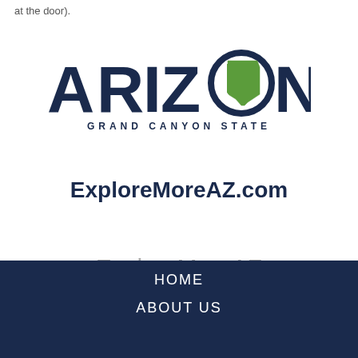at the door).
[Figure (logo): Arizona Grand Canyon State logo with navy blue wordmark ARIZONA and green state shape replacing the O, with subtitle GRAND CANYON STATE]
ExploreMoreAZ.com
ExploreMoreAZ
HOME
ABOUT US